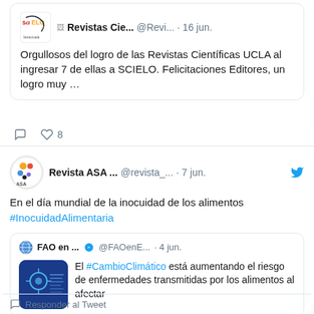[Figure (screenshot): Screenshot of a Twitter/social media feed showing two tweets. First tweet from Revistas Cie... (@Revi...) dated 16 jun. with SciELO logo avatar, text about Revistas Científicas UCLA entering SCIELO, with 8 likes. Second tweet from Revista ASA ... (@revista_...) dated 7 jun. with Revista ASA logo, text about día mundial de la inocuidad de los alimentos with a retweet from FAO en... (@FAOenE...) dated 4 jun. about #CambioClimático and food safety.]